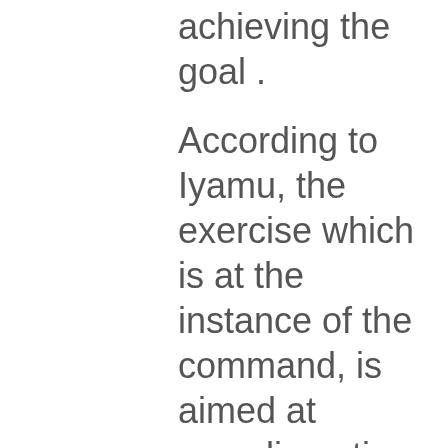achieving the goal .
According to Iyamu, the exercise which is at the instance of the command, is aimed at complimenting the efforts of the Controller General of Prisoners Ja’afaru Amend in the driven for excellent.